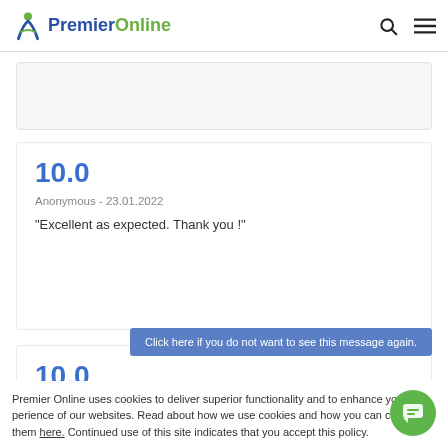PremierOnline
10.0
Anonymous - 23.01.2022
“Excellent as expected. Thank you !”
10.0
Yogesh P. - 23.01.2022
Click here if you do not want to see this message again.
Premier Online uses cookies to deliver superior functionality and to enhance your experience of our websites. Read about how we use cookies and how you can control them here. Continued use of this site indicates that you accept this policy.